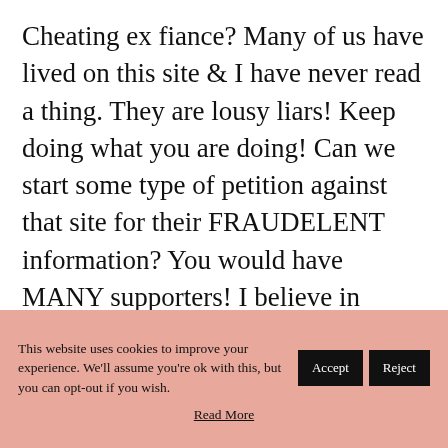Cheating ex fiance? Many of us have lived on this site & I have never read a thing. They are lousy liars! Keep doing what you are doing! Can we start some type of petition against that site for their FRAUDELENT information? You would have MANY supporters! I believe in freedom of speech when you have
This website uses cookies to improve your experience. We'll assume you're ok with this, but you can opt-out if you wish. Accept Reject
Read More